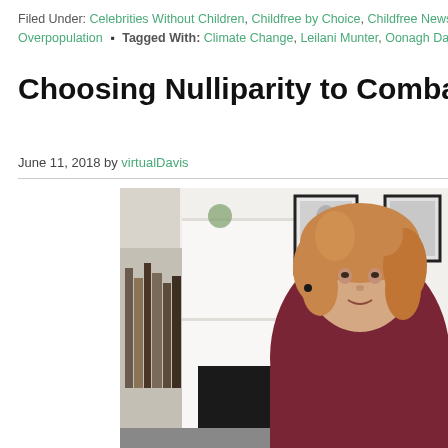Filed Under: Celebrities Without Children, Childfree by Choice, Childfree News, Childfreedom, Overpopulation • Tagged With: Climate Change, Leilani Munter, Oonagh Dalgliesh
Choosing Nulliparity to Combat Overpopulation
June 11, 2018 by virtualDavis
[Figure (photo): Woman with curly blonde-red hair wearing a dark red sweater, seated in an office/home setting with white shelves and framed pictures on the wall behind her]